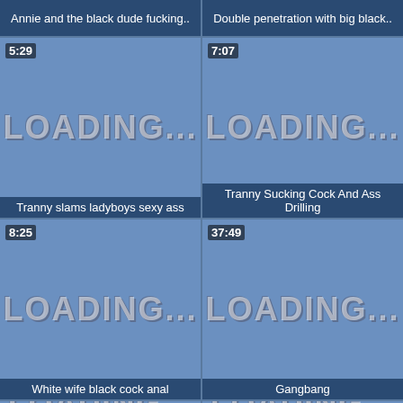Annie and the black dude fucking..
Double penetration with big black..
[Figure (screenshot): Loading thumbnail placeholder, duration 5:29, title: Tranny slams ladyboys sexy ass]
[Figure (screenshot): Loading thumbnail placeholder, duration 7:07, title: Tranny Sucking Cock And Ass Drilling]
[Figure (screenshot): Loading thumbnail placeholder, duration 8:25, title: White wife black cock anal]
[Figure (screenshot): Loading thumbnail placeholder, duration 37:49, title: Gangbang]
[Figure (screenshot): Loading thumbnail placeholder, duration 32:26, partial view]
[Figure (screenshot): Loading thumbnail placeholder, duration 32:25, partial view]